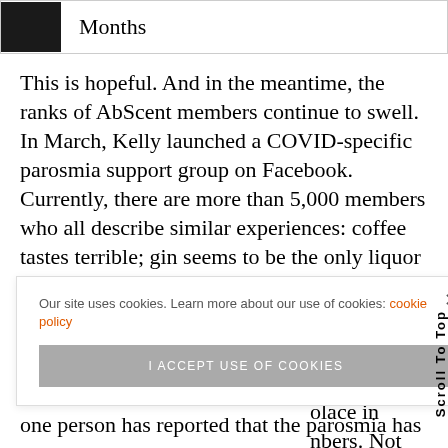[Figure (photo): Dark thumbnail image next to the word 'Months' in a header bar]
This is hopeful. And in the meantime, the ranks of AbScent members continue to swell. In March, Kelly launched a COVID-specific parosmia support group on Facebook. Currently, there are more than 5,000 members who all describe similar experiences: coffee tastes terrible; gin seems to be the only liquor that isn't wretched; rotten, smokey, and chemical smells and tastes abound. Everyone [whose] …nce is so …s to their …olace in …bers. Not
Our site uses cookies. Learn more about our use of cookies: cookie policy
I ACCEPT USE OF COOKIES
one person has reported that the parosmia has